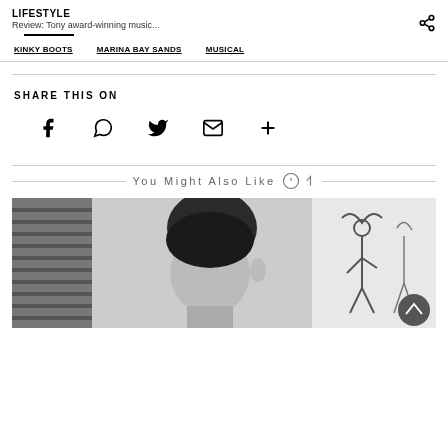LIFESTYLE
Review: Tony award-winning music...
KINKY BOOTS
MARINA BAY SANDS
MUSICAL
SHARE THIS ON
[Figure (infographic): Social sharing icons: Facebook, WhatsApp, Twitter, Email, More]
You Might Also Like
[Figure (photo): Black and white photo of a young Asian man with short dark hair, with artwork/illustration visible in the background]